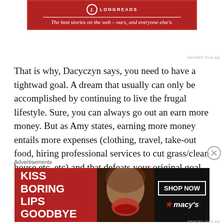[Figure (other): Longreads advertisement banner: red background with white Longreads logo and tagline 'The best stories on the web – ours, and everyone else's.']
That is why, Dacyczyn says, you need to have a tightwad goal. A dream that usually can only be accomplished by continuing to live the frugal lifestyle. Sure, you can always go out an earn more money. But as Amy states, earning more money entails more expenses (clothing, travel, take-out food, hiring professional services to cut grass/clean house etc. etc) and that defeats your original goal.
I realized very early on that if I were to bring my own
Advertisements
[Figure (other): Macy's advertisement: red background with bold white text 'KISS BORING LIPS GOODBYE', image of woman's face, 'SHOP NOW' button, and Macy's star logo]